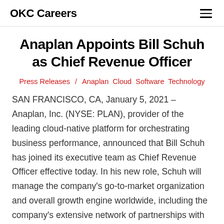OKC Careers
Anaplan Appoints Bill Schuh as Chief Revenue Officer
Press Releases / Anaplan Cloud Software Technology
SAN FRANCISCO, CA, January 5, 2021 – Anaplan, Inc. (NYSE: PLAN), provider of the leading cloud-native platform for orchestrating business performance, announced that Bill Schuh has joined its executive team as Chief Revenue Officer effective today. In his new role, Schuh will manage the company's go-to-market organization and overall growth engine worldwide, including the company's extensive network of partnerships with global and regional